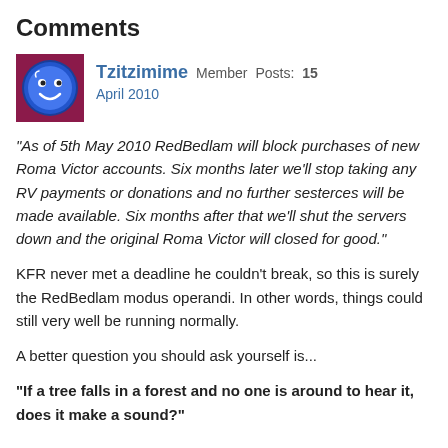Comments
Tzitzimime  Member  Posts: 15
April 2010
"As of 5th May 2010 RedBedlam will block purchases of new Roma Victor accounts. Six months later we'll stop taking any RV payments or donations and no further sesterces will be made available. Six months after that we'll shut the servers down and the original Roma Victor will closed for good."
KFR never met a deadline he couldn't break, so this is surely the RedBedlam modus operandi. In other words, things could still very well be running normally.
A better question you should ask yourself is...
"If a tree falls in a forest and no one is around to hear it, does it make a sound?"